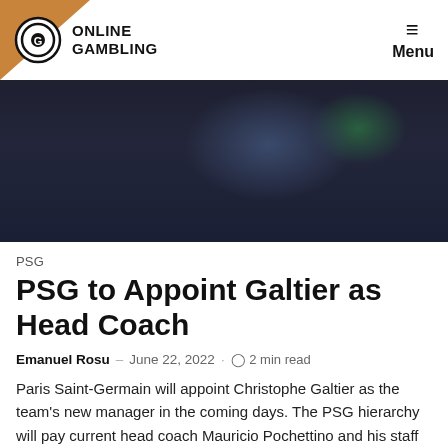ONLINE GAMBLING | Menu
[Figure (photo): Close-up photo of a man (football manager) wearing a dark navy jacket, seen from shoulders up, with blurred background of blue and green tones.]
PSG
PSG to Appoint Galtier as Head Coach
Emanuel Rosu — June 22, 2022 · 2 min read
Paris Saint-Germain will appoint Christophe Galtier as the team's new manager in the coming days. The PSG hierarchy will pay current head coach Mauricio Pochettino and his staff members a total of $16 million to end their contracts one year early. The official announcement of Pochettino's departure is expected on [...]